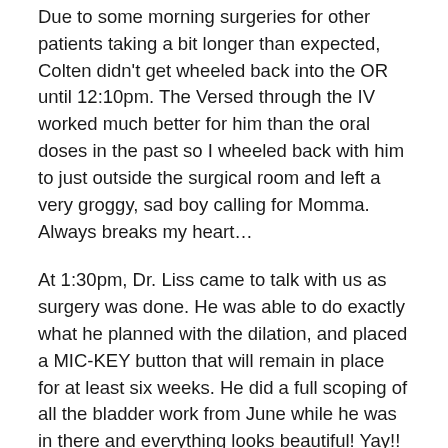Due to some morning surgeries for other patients taking a bit longer than expected, Colten didn't get wheeled back into the OR until 12:10pm. The Versed through the IV worked much better for him than the oral doses in the past so I wheeled back with him to just outside the surgical room and left a very groggy, sad boy calling for Momma. Always breaks my heart...
At 1:30pm, Dr. Liss came to talk with us as surgery was done. He was able to do exactly what he planned with the dilation, and placed a MIC-KEY button that will remain in place for at least six weeks. He did a full scoping of all the bladder work from June while he was in there and everything looks beautiful! Yay!!
After we returned to the waiting room, Dr. McBrien came out and said she cleared quite a bit of impacted wax from